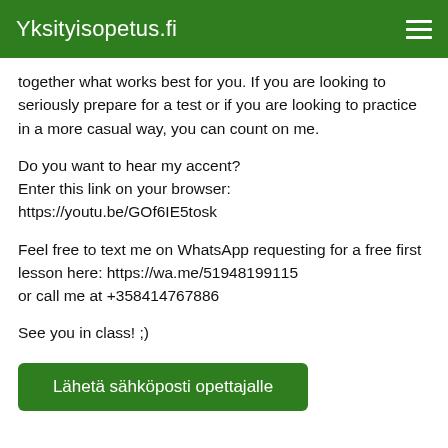Yksityisopetus.fi
together what works best for you. If you are looking to seriously prepare for a test or if you are looking to practice in a more casual way, you can count on me.
Do you want to hear my accent?
Enter this link on your browser:
https://youtu.be/GOf6IE5tosk
Feel free to text me on WhatsApp requesting for a free first lesson here: https://wa.me/51948199115
or call me at +358414767886
See you in class! ;)
Lähetä sähköposti opettajalle